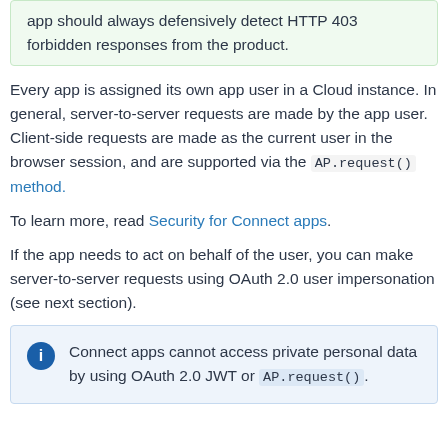app should always defensively detect HTTP 403 forbidden responses from the product.
Every app is assigned its own app user in a Cloud instance. In general, server-to-server requests are made by the app user. Client-side requests are made as the current user in the browser session, and are supported via the AP.request() method.
To learn more, read Security for Connect apps.
If the app needs to act on behalf of the user, you can make server-to-server requests using OAuth 2.0 user impersonation (see next section).
Connect apps cannot access private personal data by using OAuth 2.0 JWT or AP.request().